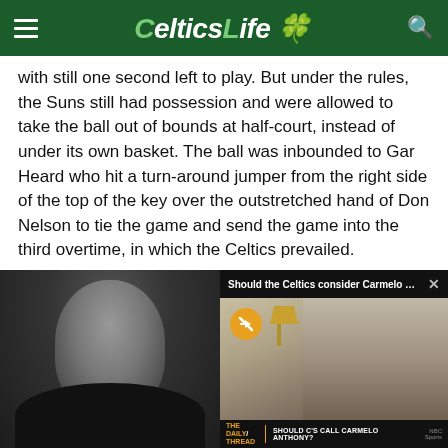CelticsLife
with still one second left to play. But under the rules, the Suns still had possession and were allowed to take the ball out of bounds at half-court, instead of under its own basket. The ball was inbounded to Gar Heard who hit a turn-around jumper from the right side of the top of the key over the outstretched hand of Don Nelson to tie the game and send the game into the third overtime, in which the Celtics prevailed.
It was a brilliant move by Westphal, and showed just how smart a player he was.
[Figure (photo): Black and white photo of a man with grey beard, appears to be a coach or player]
[Figure (screenshot): Video player screenshot with title 'Should the Celtics consider Carmelo Ant...' and lower third reading 'THE DAILY THREAD - SHOULD C'S CALL CARMELO ANTHONY?' on NBC Sports]